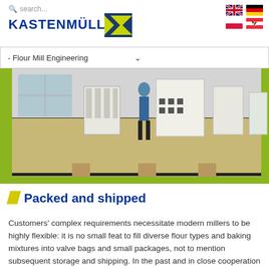search... KASTENMÜLLER
- Flour Mill Engineering
[Figure (photo): Industrial flour milling equipment displayed on a green exhibition floor, with a person standing among large white milling machines]
Packed and shipped
Customers' complex requirements necessitate modern millers to be highly flexible: it is no small feat to fill diverse flour types and baking mixtures into valve bags and small packages, not to mention subsequent storage and shipping. In the past and in close cooperation with our